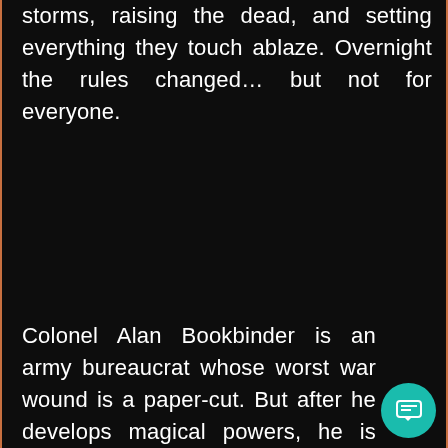storms, raising the dead, and setting everything they touch ablaze. Overnight the rules changed… but not for everyone.

Colonel Alan Bookbinder is an army bureaucrat whose worst war wound is a paper-cut. But after he develops magical powers, he is torn from everything he knows and thrown onto the front-lines. Drafted into the Supernatural Operations Corps in a new and dangerous world, Bookbinder finds himself in command of Forward Operating Base Frontier — cut off,